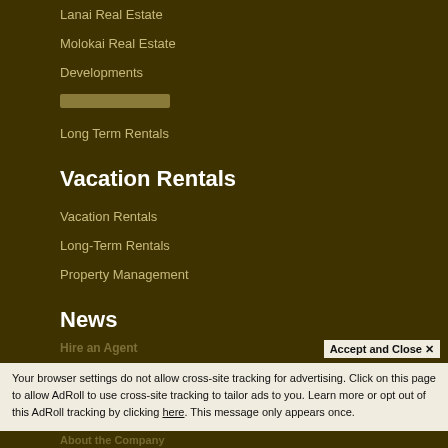Lanai Real Estate
Molokai Real Estate
Developments
[redacted]
Long Term Rentals
Vacation Rentals
Vacation Rentals
Long-Term Rentals
Property Management
News
Hawai'i Life Blog
Vacation Blog
Company
Accept and Close X
Your browser settings do not allow cross-site tracking for advertising. Click on this page to allow AdRoll to use cross-site tracking to tailor ads to you. Learn more or opt out of this AdRoll tracking by clicking here. This message only appears once.